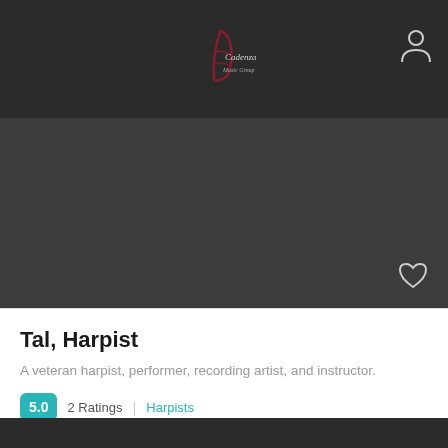Cadenza Music Group logo and user icon
[Figure (screenshot): Dark hero/banner area with heart icon in bottom right]
Tal, Harpist
A veteran harpist, performer, recording artist, and instructor.
5.0  2 Ratings  |  Harpists
Los Angeles